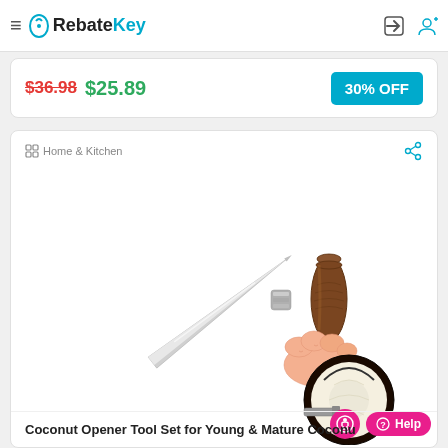RebateKey
$36.98 $25.89 30% OFF
Home & Kitchen
[Figure (photo): A coconut opener tool with a wooden brown handle and silver metal blade, shown alongside a hand holding a cut coconut]
Coconut Opener Tool Set for Young & Mature Coconu